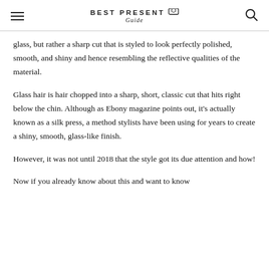BEST PRESENT Guide
glass, but rather a sharp cut that is styled to look perfectly polished, smooth, and shiny and hence resembling the reflective qualities of the material.
Glass hair is hair chopped into a sharp, short, classic cut that hits right below the chin. Although as Ebony magazine points out, it's actually known as a silk press, a method stylists have been using for years to create a shiny, smooth, glass-like finish.
However, it was not until 2018 that the style got its due attention and how!
Now if you already know about this and want to know